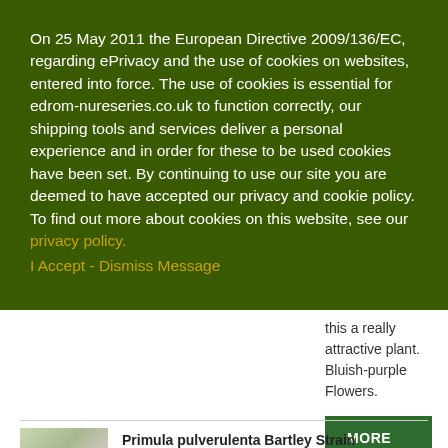On 25 May 2011 the European Directive 2009/136/EC, regarding ePrivacy and the use of cookies on websites, entered into force. The use of cookies is essential for edrom-nureseries.co.uk to function correctly, our shipping tools and services deliver a personal experience and in order for these to be used cookies have been set. By continuing to use our site you are deemed to have accepted our privacy and cookie policy. To find out more about cookies on this website, see our privacy policy.
I Accept - Dismiss Message
this a really attractive plant. Bluish-purple Flowers.
[Figure (other): Button labeled MORE DETAILS in white text on dark green background]
[Figure (photo): Small photo of Primula pulverulenta Bartley Strain plant with pinkish-purple flowers]
Primula pulverulenta Bartley Strain
Price: £5.00